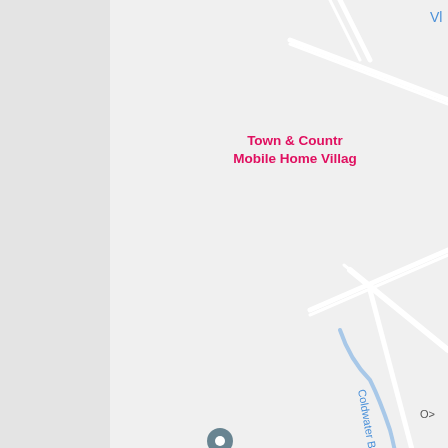[Figure (map): Google Maps screenshot showing a road map with Town & Country Mobile Home Village label in pink/red text, Eddie Kahkonen Rd road label, Coldwater Brook in blue, a location pin marker, and road intersections. Left side has a gray panel with a dark navigation/compass button showing an up arrow.]